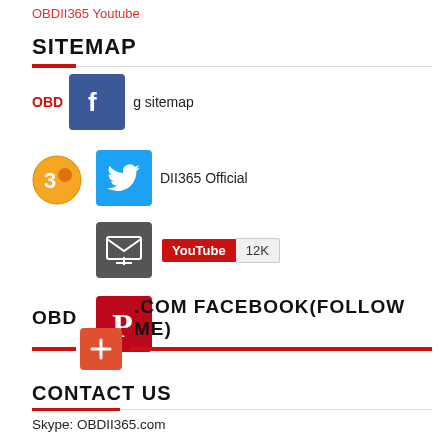OBDII365 Youtube
SITEMAP
OBD [Facebook icon] g sitemap
[Twitter icon] DII365 Official
[Email icon] YouTube 12K
[Pinterest icon]
OBD .COM FACEBOOK(FOLLOW ME)
[Plus icon]
CONTACT US
Skype: OBDII365.com
Email: Sales@OBDII365.com
Whatsapp: +86 18259252285
Facebook: www.facebook.com/obd365tool
Twitter: https://twitter.com/obd365